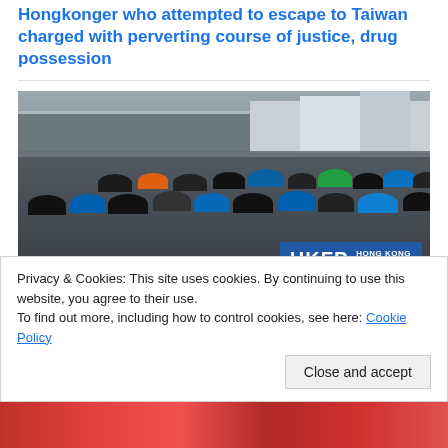Hongkonger who attempted to escape to Taiwan charged with perverting course of justice, drug possession
[Figure (photo): Large crowd of Hong Kong protesters with umbrellas filling a street, with overpass and buildings in background; HKFP Hong Kong Free Press watermark in bottom right]
11 Hong Kong protesters convicted of rioting outside gov't
Privacy & Cookies: This site uses cookies. By continuing to use this website, you agree to their use.
To find out more, including how to control cookies, see here: Cookie Policy
Close and accept
[Figure (photo): Partial view of another news article photo at the bottom of the page, showing red-colored scene]